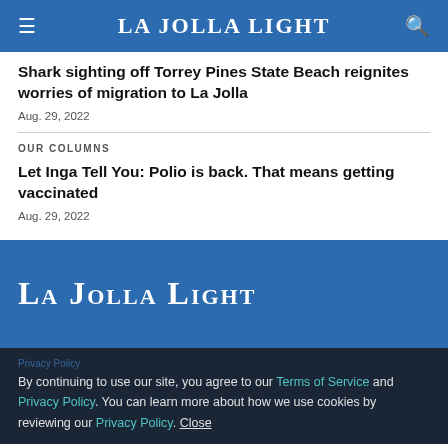La Jolla Light
Shark sighting off Torrey Pines State Beach reignites worries of migration to La Jolla
Aug. 29, 2022
OUR COLUMNS
Let Inga Tell You: Polio is back. That means getting vaccinated
Aug. 29, 2022
[Figure (logo): La Jolla Light logo in white text on blue background]
Privacy Policy
By continuing to use our site, you agree to our Terms of Service and Privacy Policy. You can learn more about how we use cookies by reviewing our Privacy Policy. Close